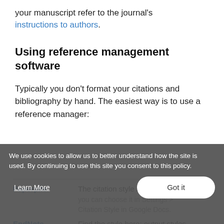your manuscript refer to the journal's instructions to authors.
Using reference management software
Typically you don't format your citations and bibliography by hand. The easiest way is to use a reference manager:
|  |  |
| --- | --- |
| Paperpile | The citation style is built in and you can choose it in Settings > Citation Style in Google Docs. |
| EndNote | Find the style here: output styles |
We use cookies to allow us to better understand how the site is used. By continuing to use this site you consent to this policy.